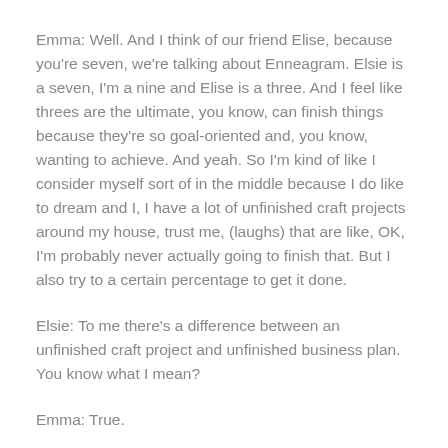Emma: Well. And I think of our friend Elise, because you're seven, we're talking about Enneagram. Elsie is a seven, I'm a nine and Elise is a three. And I feel like threes are the ultimate, you know, can finish things because they're so goal-oriented and, you know, wanting to achieve. And yeah. So I'm kind of like I consider myself sort of in the middle because I do like to dream and I, I have a lot of unfinished craft projects around my house, trust me, (laughs) that are like, OK, I'm probably never actually going to finish that. But I also try to a certain percentage to get it done.
Elsie: To me there's a difference between an unfinished craft project and unfinished business plan. You know what I mean?
Emma: True.